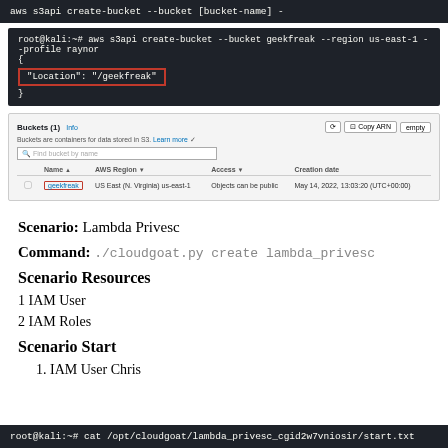[Figure (screenshot): Terminal showing: aws s3api create-bucket --bucket [bucket-name] - (truncated)]
[Figure (screenshot): Dark terminal window showing AWS S3 bucket creation command: root@kali:~# aws s3api create-bucket --bucket geekfreak --region us-east-1 --profile raynor, with JSON output { "Location": "/geekfreak" } highlighted in red box]
[Figure (screenshot): AWS S3 console screenshot showing Buckets (1) with geekfreak bucket in US East (Virginia) us-east-1, Objects can be public, created May 14, 2022]
Scenario: Lambda Privesc
Command: ./cloudgoat.py create lambda_privesc
Scenario Resources
1 IAM User
2 IAM Roles
Scenario Start
1. IAM User Chris
[Figure (screenshot): Terminal at bottom: root@kali:~# cat /opt/cloudgoat/lambda_privesc_cgid2w7vniosir/start.txt]